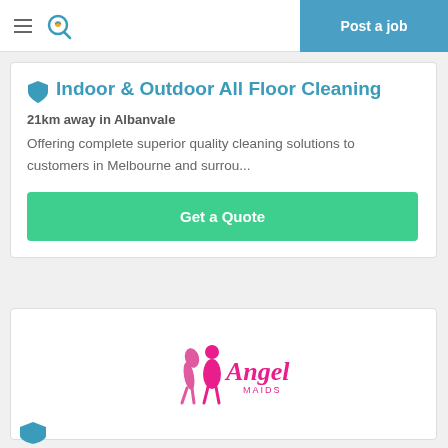Post a job
Indoor & Outdoor All Floor Cleaning
21km away in Albanvale
Offering complete superior quality cleaning solutions to customers in Melbourne and surrou...
Get a Quote
[Figure (logo): Angel Maids logo — pink figures with cursive 'Angel Maids' text]